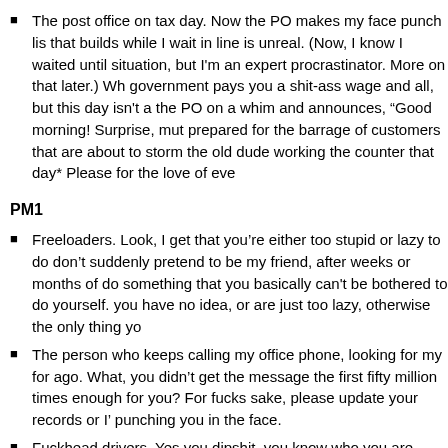The post office on tax day. Now the PO makes my face punch list because the rage that builds while I wait in line is unreal. (Now, I know I waited until the last minute for this situation, but I'm an expert procrastinator. More on that later.) Whole, I get it, the government pays you a shit-ass wage and all, but this day isn't a surprise. Some jackass at the PO on a whim and announces, "Good morning! Surprise, mutha fuckas! You should be prepared for the barrage of customers that are about to storm the counter today!" To the old dude working the counter that day* Please for the love of eve
PM1
Freeloaders. Look, I get that you're either too stupid or lazy to do something, but don't suddenly pretend to be my friend, after weeks or months of ignoring me, just to do something that you basically can't be bothered to do yourself. This tells me either you have no idea, or are just too lazy, otherwise the only thing yo
The person who keeps calling my office phone, looking for my for someone who left years ago. What, you didn't get the message the first fifty million times I told you? Not clear enough for you? For fucks sake, please update your records or I'll consider punching you in the face.
Fuckhead drivers. Yes you dipshit, you know who you are. You're the ones driving below the speed limit and refuse to move over to the slow lane. A guided by some fucking idiotic karmic homing device, you always manage t